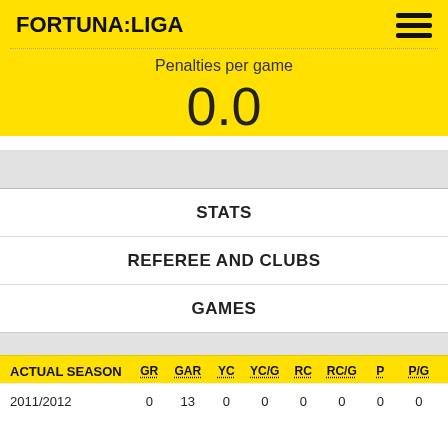FORTUNA:LIGA
Penalties per game
0.0
STATS
REFEREE AND CLUBS
GAMES
| ACTUAL SEASON | GR | GAR | YC | YC/G | RC | RC/G | P | P/G |
| --- | --- | --- | --- | --- | --- | --- | --- | --- |
| 2011/2012 | 0 | 13 | 0 | 0 | 0 | 0 | 0 | 0 |